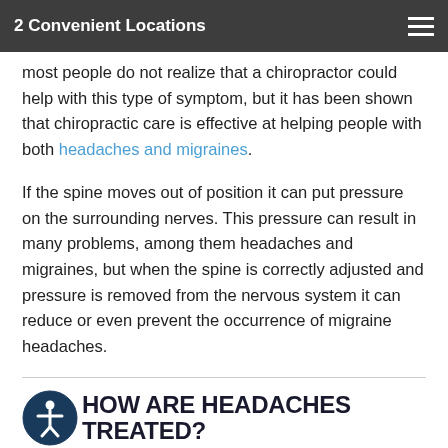2 Convenient Locations
...most people do not realize that a chiropractor could help with this type of symptom, but it has been shown that chiropractic care is effective at helping people with both headaches and migraines.
If the spine moves out of position it can put pressure on the surrounding nerves. This pressure can result in many problems, among them headaches and migraines, but when the spine is correctly adjusted and pressure is removed from the nervous system it can reduce or even prevent the occurrence of migraine headaches.
HOW ARE HEADACHES TREATED?
The kind of treatment for headaches you need will